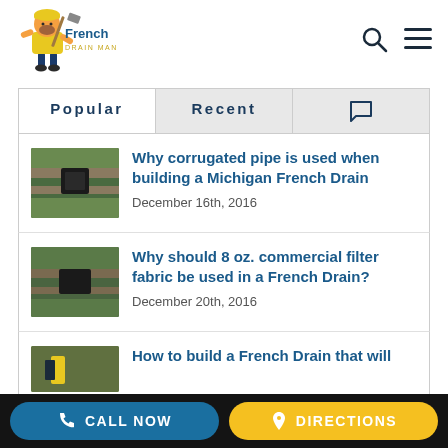[Figure (logo): French Drain Man logo with cartoon mascot in yellow overalls holding a shovel, with blue 'French Drain Man' text]
[Figure (other): Navigation icons: search (magnifying glass) and hamburger menu]
[Figure (other): Tab bar with Popular (active/white), Recent (grey), and comments icon tabs]
[Figure (photo): Thumbnail image of a French drain trench in grass with corrugated pipe]
Why corrugated pipe is used when building a Michigan French Drain
December 16th, 2016
[Figure (photo): Thumbnail image of a French drain trench with black pipe]
Why should 8 oz. commercial filter fabric be used in a French Drain?
December 20th, 2016
[Figure (photo): Thumbnail image partially visible showing a worker building a French drain]
How to build a French Drain that will
CALL NOW
DIRECTIONS